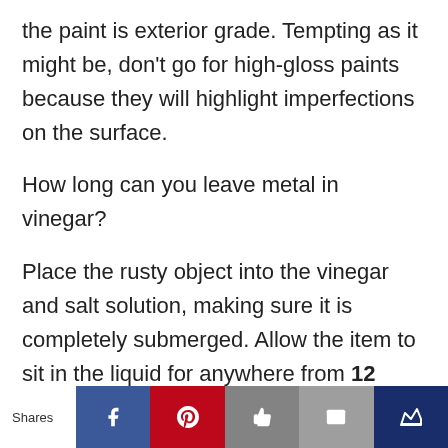the paint is exterior grade. Tempting as it might be, don't go for high-gloss paints because they will highlight imperfections on the surface.
How long can you leave metal in vinegar?
Place the rusty object into the vinegar and salt solution, making sure it is completely submerged. Allow the item to sit in the liquid for anywhere from 12 hours to a few days, depending on how rusty it is. Check the
Shares | Facebook | Pinterest | Like | Email | Crown